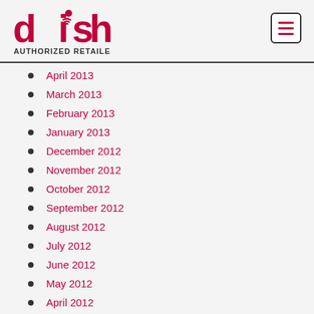DISH Authorized Retailer
April 2013
March 2013
February 2013
January 2013
December 2012
November 2012
October 2012
September 2012
August 2012
July 2012
June 2012
May 2012
April 2012
March 2012